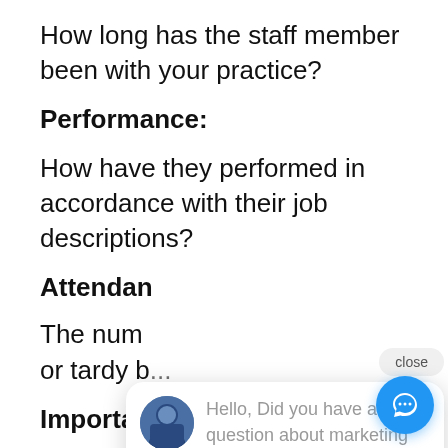How long has the staff member been with your practice?
Performance:
How have they performed in accordance with their job descriptions?
Attendance:
The num[ber of times they have been absent] or tardy b[y...]
Importance:
How vital is the service they perform in
[Figure (screenshot): Chat popup widget showing a close button and avatar with message: Hello, Did you have a question about marketing or practice development?]